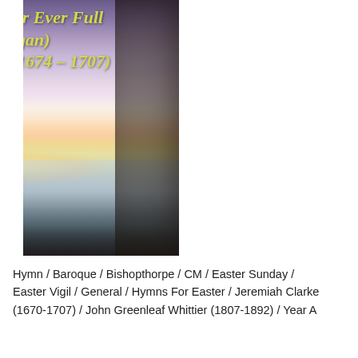[Figure (photo): Album cover image showing a misty dawn landscape with purple and pink sky, fog over a town, bare trees on right and left edges. Yellow-green italic text overlaid reads: 'Immortal Love, For Ever Full (Bishopthorpe, Organ) Jeremiah Clarke (1674 – 1707)' at top, and 'Hymns For Easter / Richard M.S. Irwin / Hymns Without Words' at bottom.]
Hymn / Baroque / Bishopthorpe / CM / Easter Sunday / Easter Vigil / General / Hymns For Easter / Jeremiah Clarke (1670-1707) / John Greenleaf Whittier (1807-1892) / Year A